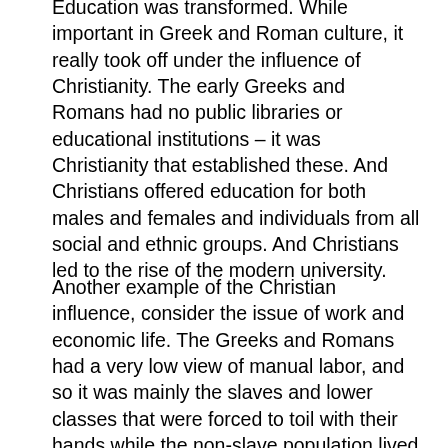Education was transformed. While important in Greek and Roman culture, it really took off under the influence of Christianity. The early Greeks and Romans had no public libraries or educational institutions – it was Christianity that established these. And Christians offered education for both males and females and individuals from all social and ethnic groups. And Christians led to the rise of the modern university.
Another example of the Christian influence, consider the issue of work and economic life. The Greeks and Romans had a very low view of manual labor, and so it was mainly the slaves and lower classes that were forced to toil with their hands while the non-slave population lived primarily for personal pleasure. But the Church changed all this. Jesus of course was a carpenter's son. Paul was a